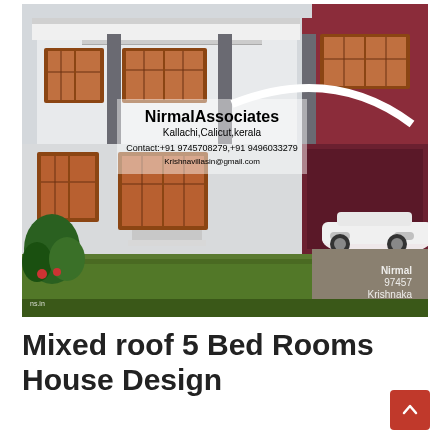[Figure (photo): Architectural rendering of a two-storey Kerala-style house with mixed roof design, featuring wooden-framed windows, stone-clad pillars, a covered car porch with a white sedan, lush green lawn in the foreground, and a maroon accent wall. Watermark overlay shows 'Nirmal Associates, Kallachi, Calicut, Kerala' with contact numbers and email.]
Mixed roof 5 Bed Rooms House Design